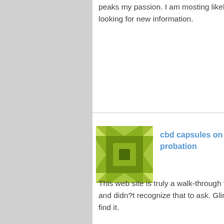peaks my passion. I am mosting likely to bookmark your website and maintain looking for new information.
Log in to Reply
[Figure (illustration): Green pixel/quilt pattern avatar icon for user cbd capsules on probation]
cbd capsules on probation
This web site is truly a walk-through for all of the info you wanted regarding this and didn?t recognize that to ask. Glimpse below, as well as you?ll most definitely find it.